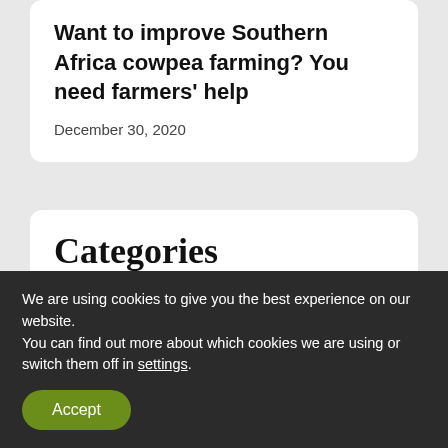Want to improve Southern Africa cowpea farming? You need farmers' help
December 30, 2020
Categories
Africa (7)
Asia (8)
Farming (10)
We are using cookies to give you the best experience on our website.
You can find out more about which cookies we are using or switch them off in settings.